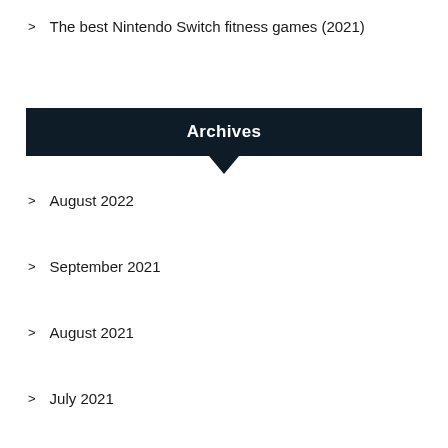> The best Nintendo Switch fitness games (2021)
Archives
> August 2022
> September 2021
> August 2021
> July 2021